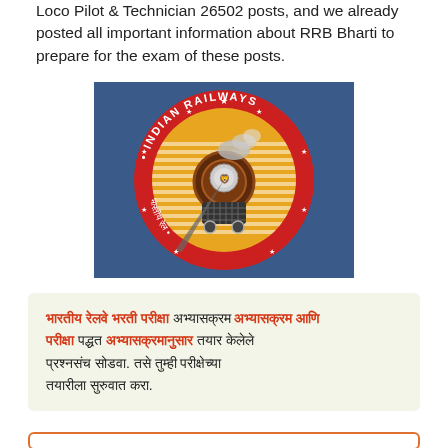Loco Pilot & Technician 26502 posts, and we already posted all important information about RRB Bharti to prepare for the exam of these posts.
[Figure (logo): Indian Railways circular logo on blue background — red circle with white text 'INDIAN RAILWAYS' and Hindi text 'भारतीय रेल', yellow-orange arc with white horizontal stripes, steam locomotive in the center with Ashoka Emblem, stars around the border.]
भारतीय रेलवे भरती परीक्षा अभ्यासक्रम आणि परीक्षा पद्धत अभ्यासक्रमानुसार तयार केलेले प्रश्नसंच सोडवा. तसे तुम्ही परीक्षेच्या तयारीला सुरुवात करा.